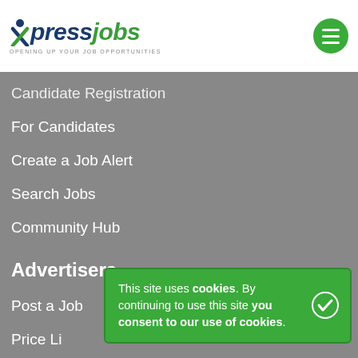[Figure (logo): Xpress Jobs logo with person/X icon and tagline 'Opening up your job opportunities']
[Figure (other): Green circular hamburger menu button with three white horizontal lines]
Candidate Registration
For Candidates
Create a Job Alert
Search Jobs
Community Hub
Advertisers
Post a Job
Price Li
Recruite
This site uses cookies. By continuing to use this site you consent to our use of cookies.